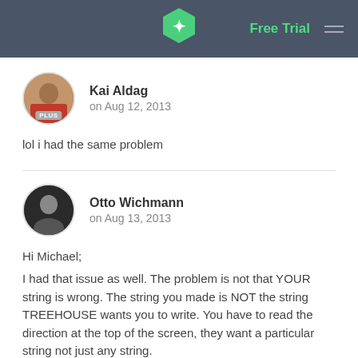Free Trial
Kai Aldag
on Aug 12, 2013
lol i had the same problem
Otto Wichmann
on Aug 13, 2013
Hi Michael;

I had that issue as well. The problem is not that YOUR string is wrong. The string you made is NOT the string TREEHOUSE wants you to write. You have to read the direction at the top of the screen, they want a particular string not just any string.

I'll give you a hint: